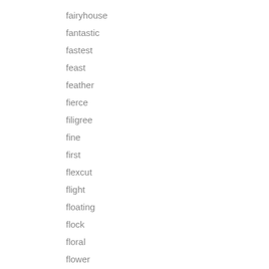fairyhouse
fantastic
fastest
feast
feather
fierce
filigree
fine
first
flexcut
flight
floating
flock
floral
flower
flying